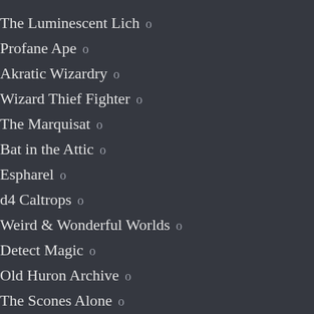The Luminescent Lich o
Profane Ape o
Akratic Wizardry o
Wizard Thief Fighter o
The Marquisat o
Bat in the Attic o
Espharel o
d4 Caltrops o
Weird & Wonderful Worlds o
Detect Magic o
Old Huron Archive o
The Scones Alone o
Goodberry Monthly o
The … o